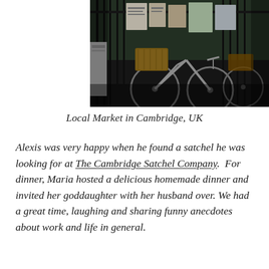[Figure (photo): Black and white photograph of bicycles with baskets parked against iron railings with notice boards and posters in the background, at a local market in Cambridge, UK]
Local Market in Cambridge, UK
Alexis was very happy when he found a satchel he was looking for at The Cambridge Satchel Company.  For dinner, Maria hosted a delicious homemade dinner and invited her goddaughter with her husband over. We had a great time, laughing and sharing funny anecdotes about work and life in general.